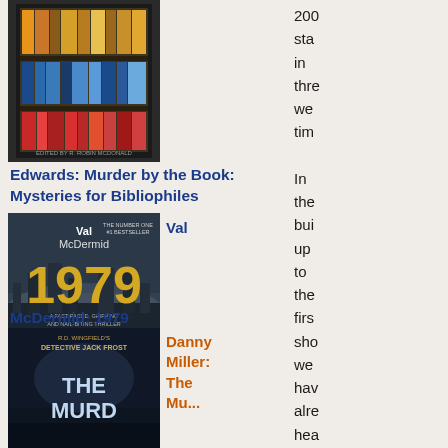[Figure (photo): Book cover for Edwards: Murder by the Book: Mysteries for Bibliophiles, showing bookshelves]
Edwards: Murder by the Book: Mysteries for Bibliophiles
[Figure (photo): Book cover for Val McDermid 1979, showing a bridge in dark tones]
McDermid: 1979
[Figure (photo): Book cover for Danny Miller: The Murder, Detective Jack Frost series]
Danny Miller: The
200 sta in thre we tim

In the bui up to the firs sho we hav alre hea tha Cra Re Ho is